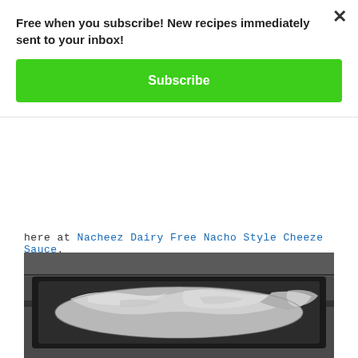Free when you subscribe! New recipes immediately sent to your inbox!
Subscribe
here at Nacheez Dairy Free Nacho Style Cheeze Sauce.
[Figure (photo): A baking pan covered with aluminum foil sitting in an oven rack]